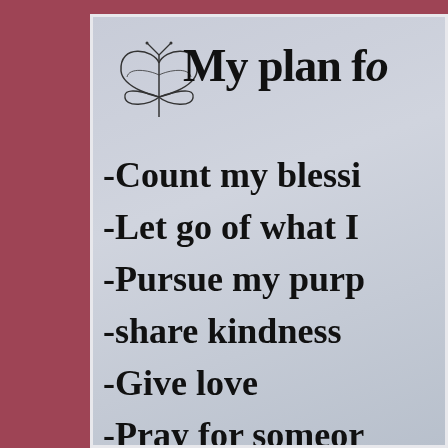[Figure (illustration): Outline drawing of a butterfly with heart-shaped wings]
My plan fo
-Count my blessi
-Let go of what I
-Pursue my purp
-share kindness
-Give love
-Pray for someor